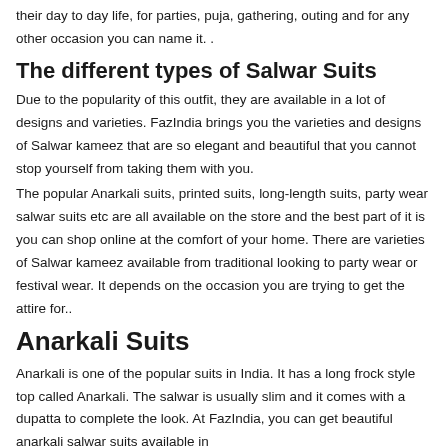more versatile to be worn at separate occasions. Ladies wear them in their day to day life, for parties, puja, gathering, outing and for any other occasion you can name it. .
The different types of Salwar Suits
Due to the popularity of this outfit, they are available in a lot of designs and varieties. FazIndia brings you the varieties and designs of Salwar kameez that are so elegant and beautiful that you cannot stop yourself from taking them with you.
The popular Anarkali suits, printed suits, long-length suits, party wear salwar suits etc are all available on the store and the best part of it is you can shop online at the comfort of your home. There are varieties of Salwar kameez available from traditional looking to party wear or festival wear. It depends on the occasion you are trying to get the attire for..
Anarkali Suits
Anarkali is one of the popular suits in India. It has a long frock style top called Anarkali. The salwar is usually slim and it comes with a dupatta to complete the look. At FazIndia, you can get beautiful anarkali salwar suits available in